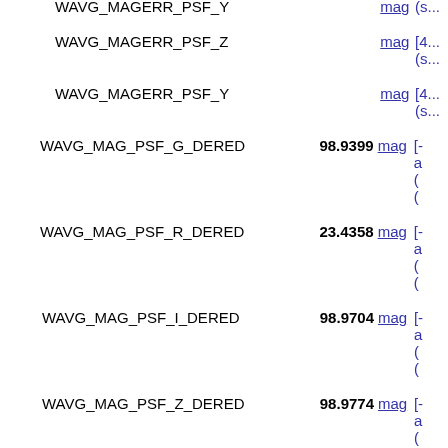WAVG_MAGERR_PSF_Y | mag | [4... (s...
WAVG_MAGERR_PSF_Z | mag | [4... (s...
WAVG_MAGERR_PSF_Y | mag | [4... (s...
WAVG_MAG_PSF_G_DERED | 98.9399 mag | [-... a... (... (...
WAVG_MAG_PSF_R_DERED | 23.4358 mag | [-... a... (... (...
WAVG_MAG_PSF_I_DERED | 98.9704 mag | [-... a... (... (...
WAVG_MAG_PSF_Z_DERED | 98.9774 mag | [-... a... (...